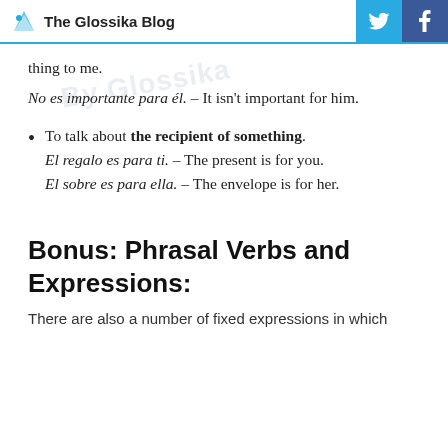The Glossika Blog
thing to me.
No es importante para él. – It isn't important for him.
To talk about the recipient of something. El regalo es para ti. – The present is for you. El sobre es para ella. – The envelope is for her.
Bonus: Phrasal Verbs and Expressions:
There are also a number of fixed expressions in which